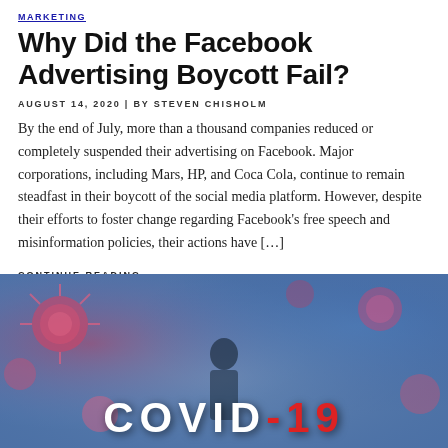MARKETING
Why Did the Facebook Advertising Boycott Fail?
AUGUST 14, 2020 | BY STEVEN CHISHOLM
By the end of July, more than a thousand companies reduced or completely suspended their advertising on Facebook. Major corporations, including Mars, HP, and Coca Cola, continue to remain steadfast in their boycott of the social media platform. However, despite their efforts to foster change regarding Facebook’s free speech and misinformation policies, their actions have […]
CONTINUE READING…
[Figure (photo): COVID-19 banner image showing blurred viral particles in pink and blue tones with a silhouetted figure and bold text reading COVID-19]